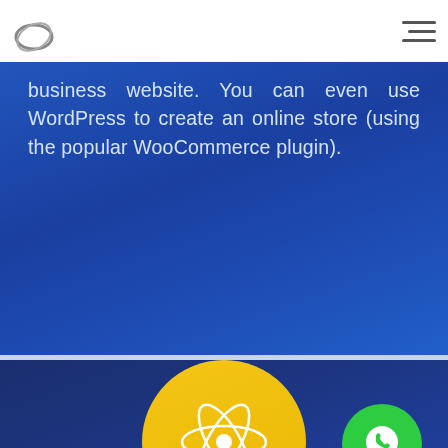business website. You can even use WordPress to create an online store (using the popular WooCommerce plugin).
[Figure (illustration): Dark blue section with a large yellow circle containing a React atom/nuclear icon (orbiting electrons and nucleus), and a smaller green circle with a WhatsApp speech bubble icon on the lower right.]